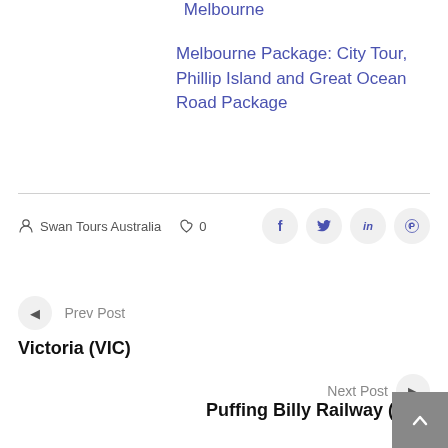Melbourne
Melbourne Package: City Tour, Phillip Island and Great Ocean Road Package
Swan Tours Australia  ♡ 0
◀ Prev Post
Victoria (VIC)
Next Post ▶
Puffing Billy Railway (VIC)